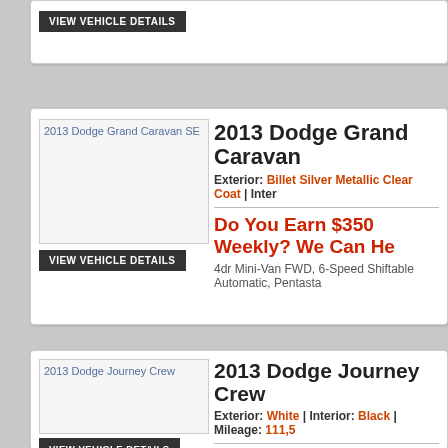[Figure (screenshot): Partial vehicle listing card at top with VIEW VEHICLE DETAILS button]
2013 Dodge Grand Caravan SE
Exterior: Billet Silver Metallic Clear Coat | Inter...
Do You Earn $350 Weekly? We Can He...
4dr Mini-Van FWD, 6-Speed Shiftable Automatic, Pentasta...
[Figure (screenshot): 2013 Dodge Grand Caravan SE vehicle image placeholder]
2013 Dodge Journey Crew
Exterior: White | Interior: Black | Mileage: 111,5...
Do You Earn $350 Weekly? We Can He...
4dr SUV FWD, 6-Speed Shiftable Automatic, Pentastar 3.6...
[Figure (screenshot): 2013 Dodge Journey Crew vehicle image placeholder]